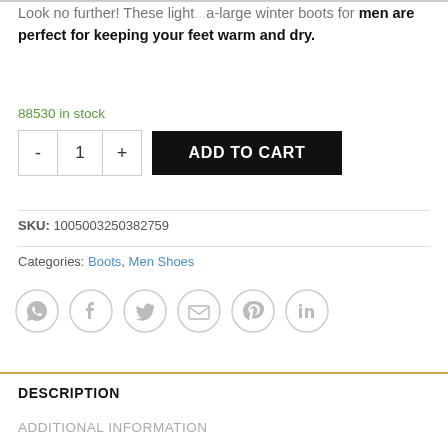Look no further! These light...a-large winter boots for men are perfect for keeping your feet warm and dry.
88530 in stock
- 1 + ADD TO CART
SKU: 1005003250382759
Categories: Boots, Men Shoes
[Figure (other): Social share icons: WhatsApp, Facebook, Twitter, Email, Pinterest, LinkedIn]
DESCRIPTION
ADDITIONAL INFORMATION